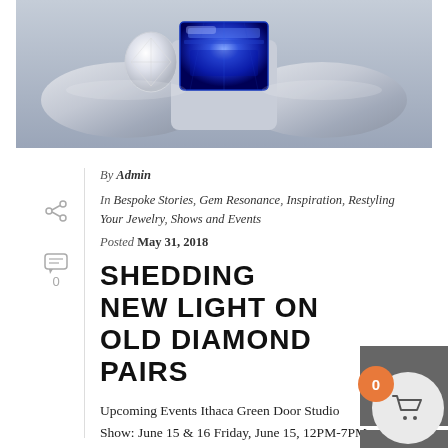[Figure (photo): Close-up photograph of a silver ring with a large rectangular blue sapphire gemstone in the center and a diamond on the side, on a light gray background.]
By Admin
In Bespoke Stories, Gem Resonance, Inspiration, Restyling Your Jewelry, Shows and Events
Posted May 31, 2018
SHEDDING NEW LIGHT ON OLD DIAMOND PAIRS
Upcoming Events Ithaca Green Door Studio Show: June 15 & 16 Friday, June 15, 12PM-7PM Saturday, June 16, 11... 4PM 152 Inlet Valley Way, Ithaca, N...